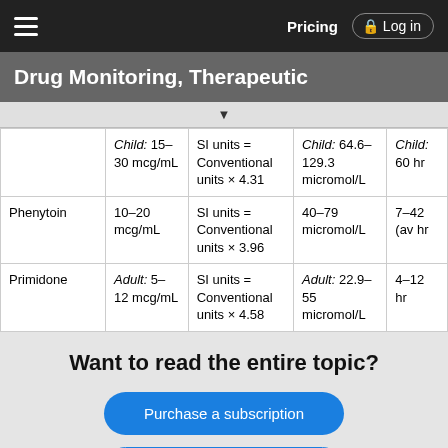Drug Monitoring, Therapeutic | Pricing | Log in
Drug Monitoring, Therapeutic
|  | Conventional Units | Conversion Factor | SI Units | Half-life |
| --- | --- | --- | --- | --- |
|  | Child: 15–30 mcg/mL | SI units = Conventional units × 4.31 | Child: 64.6–129.3 micromol/L | Child: 60 hr |
| Phenytoin | 10–20 mcg/mL | SI units = Conventional units × 3.96 | 40–79 micromol/L | 7–42 (av hr |
| Primidone | Adult: 5–12 mcg/mL | SI units = Conventional units × 4.58 | Adult: 22.9–55 micromol/L | 4–12 hr |
Want to read the entire topic?
Purchase a subscription
I'm already a subscriber
Browse sample topics